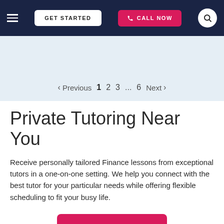GET STARTED | CALL NOW
< Previous 1 2 3 ... 6 Next >
Private Tutoring Near You
Receive personally tailored Finance lessons from exceptional tutors in a one-on-one setting. We help you connect with the best tutor for your particular needs while offering flexible scheduling to fit your busy life.
GET STARTED ▶